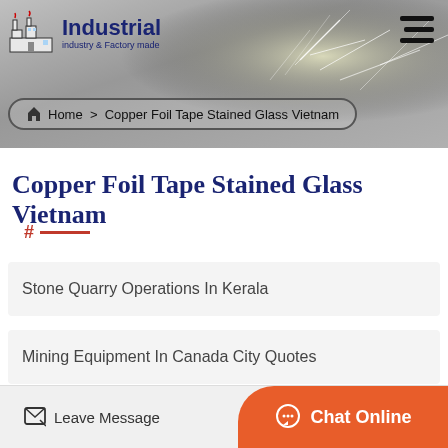[Figure (screenshot): Website header banner with industrial/factory background showing sparks/flashes, logo 'Industrial – industry & Factory made' on left, hamburger menu icon on top right, and breadcrumb navigation pill reading 'Home > Copper Foil Tape Stained Glass Vietnam']
Copper Foil Tape Stained Glass Vietnam
#
Stone Quarry Operations In Kerala
Mining Equipment In Canada City Quotes
Leave Message
Chat Online